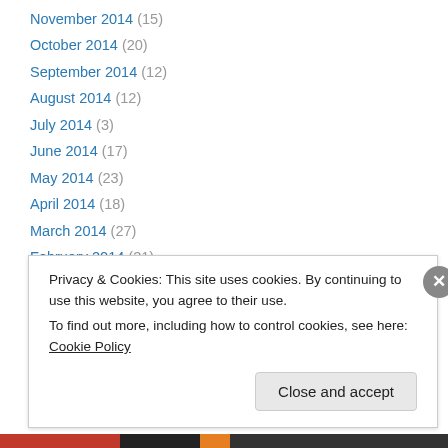November 2014 (15)
October 2014 (20)
September 2014 (12)
August 2014 (12)
July 2014 (3)
June 2014 (17)
May 2014 (23)
April 2014 (18)
March 2014 (27)
February 2014 (31)
January 2014 (20)
December 2013 (11)
November 2013 (10)
Privacy & Cookies: This site uses cookies. By continuing to use this website, you agree to their use.
To find out more, including how to control cookies, see here: Cookie Policy